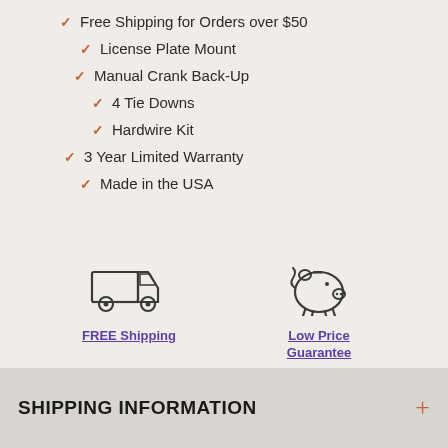Free Shipping for Orders over $50
License Plate Mount
Manual Crank Back-Up
4 Tie Downs
Hardwire Kit
3 Year Limited Warranty
Made in the USA
[Figure (illustration): Delivery truck icon representing free shipping]
FREE Shipping
[Figure (illustration): Piggy bank icon representing low price guarantee]
Low Price Guarantee
SHIPPING INFORMATION